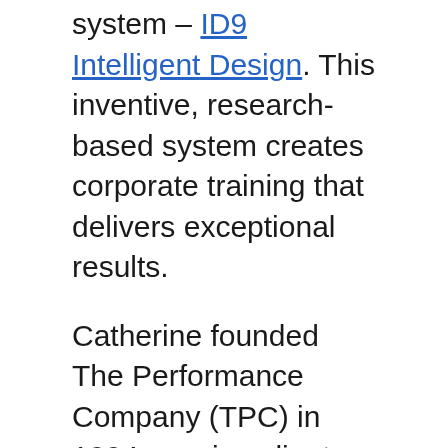system – ID9 Intelligent Design. This inventive, research-based system creates corporate training that delivers exceptional results.
Catherine founded The Performance Company (TPC) in 1994, serving clients worldwide with offices in Australia, Los Angeles, New York, and London.
As a globally recognized training expert, her focus is on energizing and influencing organizations to change employee behaviour to drive business results and achieve goals.
Sought after as a consultant advising the world's largest organizations on their L&D strategy, Catherine is also the author of 21...